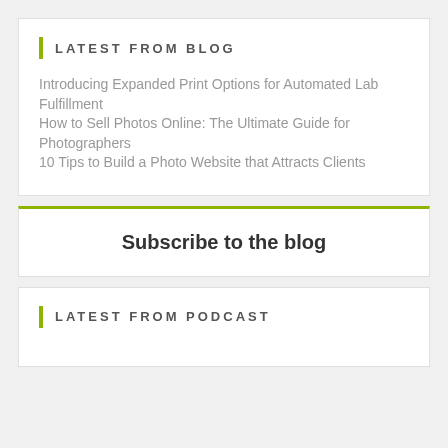LATEST FROM BLOG
Introducing Expanded Print Options for Automated Lab Fulfillment
How to Sell Photos Online: The Ultimate Guide for Photographers
10 Tips to Build a Photo Website that Attracts Clients
Subscribe to the blog
LATEST FROM PODCAST